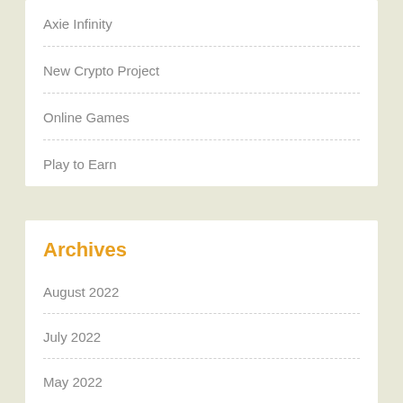Axie Infinity
New Crypto Project
Online Games
Play to Earn
Archives
August 2022
July 2022
May 2022
April 2022
April 2018